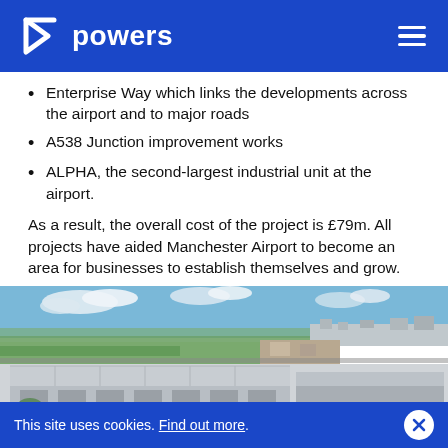powers
Enterprise Way which links the developments across the airport and to major roads
A538 Junction improvement works
ALPHA, the second-largest industrial unit at the airport.
As a result, the overall cost of the project is £79m. All projects have aided Manchester Airport to become an area for businesses to establish themselves and grow.
[Figure (photo): Aerial photograph of Manchester Airport industrial/logistics development area showing large warehouse buildings, construction sites, and surrounding landscape with fields and roads.]
This site uses cookies. Find out more.